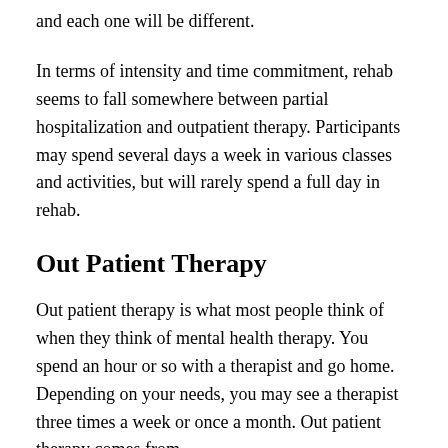and each one will be different.
In terms of intensity and time commitment, rehab seems to fall somewhere between partial hospitalization and outpatient therapy. Participants may spend several days a week in various classes and activities, but will rarely spend a full day in rehab.
Out Patient Therapy
Out patient therapy is what most people think of when they think of mental health therapy. You spend an hour or so with a therapist and go home. Depending on your needs, you may see a therapist three times a week or once a month. Out patient therapy comes from